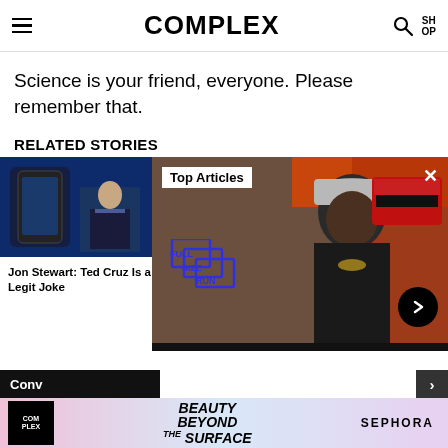COMPLEX
Science is your friend, everyone. Please remember that.
RELATED STORIES
[Figure (screenshot): Jon Stewart on The Daily Show, screenshot with phone overlay on blue background]
Jon Stewart: Ted Cruz Is a Legit Joke
[Figure (screenshot): Top Articles overlay panel showing Full Size Run logo, man with grey hat in sneaker store, red and black Jordan sneakers, close button, next arrow button]
[Figure (advertisement): Sephora ad banner: Complex logo, Beauty Beyond The Surface, SEPHORA text]